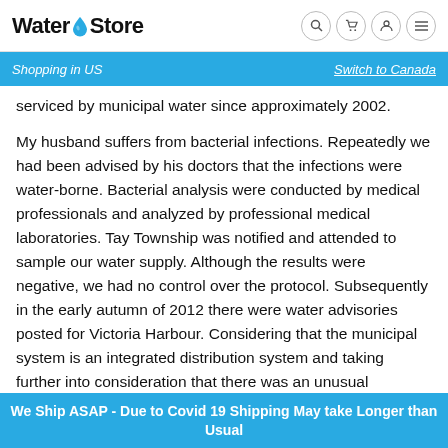Water eStore — Shopping in US — Switch to Canada
serviced by municipal water since approximately 2002.
My husband suffers from bacterial infections. Repeatedly we had been advised by his doctors that the infections were water-borne. Bacterial analysis were conducted by medical professionals and analyzed by professional medical laboratories. Tay Township was notified and attended to sample our water supply. Although the results were negative, we had no control over the protocol. Subsequently in the early autumn of 2012 there were water advisories posted for Victoria Harbour. Considering that the municipal system is an integrated distribution system and taking further into consideration that there was an unusual connection process in our neighbourhood (lacking visible permits), municipally installed connection from the curb stop to the residential
We Ship ASAP - Due to Covid 19 Shipping May take Longer than Usual